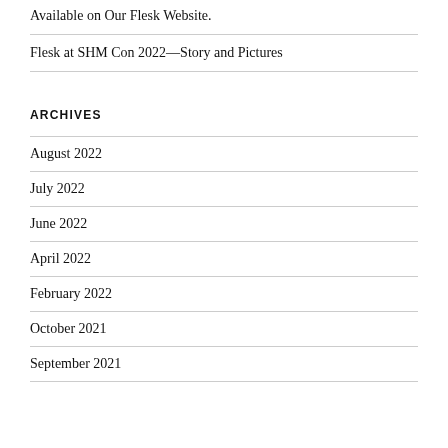Available on Our Flesk Website.
Flesk at SHM Con 2022—Story and Pictures
ARCHIVES
August 2022
July 2022
June 2022
April 2022
February 2022
October 2021
September 2021